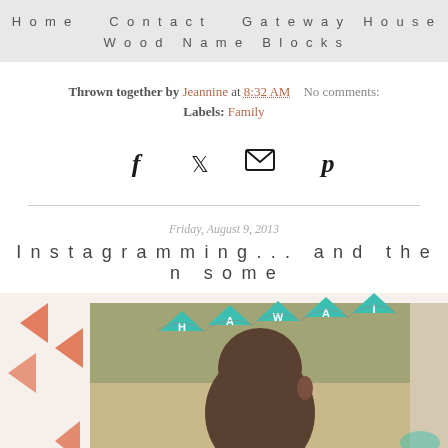Home   Contact   Gateway House   Wood Name Blocks
Thrown together by Jeannine at 8:32 AM   No comments:
Labels: Family
[Figure (infographic): Social media share icons: Facebook (f), Twitter (bird), Email (envelope), Pinterest (p)]
Friday, August 9, 2013
Instagramming... and then some
[Figure (photo): Photo of a person from behind with colorful bunting flags spelling HAWAII, with decorative scrapbook-style border elements including triangles and star designs]